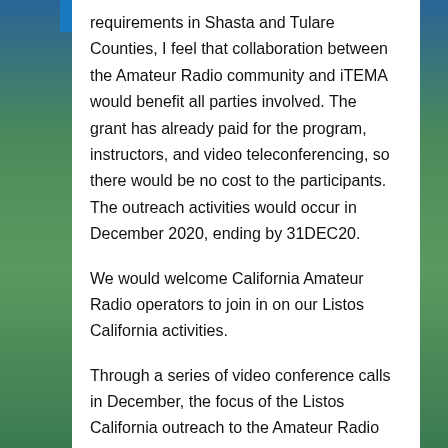requirements in Shasta and Tulare Counties, I feel that collaboration between the Amateur Radio community and iTEMA would benefit all parties involved. The grant has already paid for the program, instructors, and video teleconferencing, so there would be no cost to the participants. The outreach activities would occur in December 2020, ending by 31DEC20.
We would welcome California Amateur Radio operators to join in on our Listos California activities.
Through a series of video conference calls in December, the focus of the Listos California outreach to the Amateur Radio community would be to: